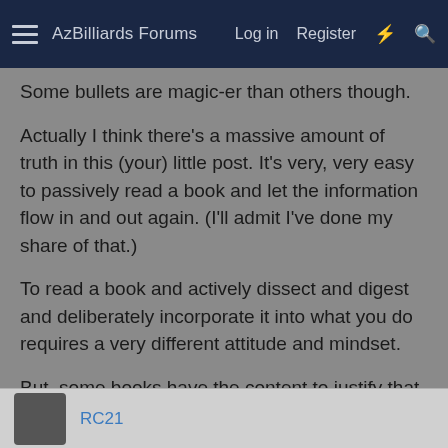AzBilliards Forums  Log in  Register
Some bullets are magic-er than others though.
Actually I think there's a massive amount of truth in this (your) little post. It's very, very easy to passively read a book and let the information flow in and out again. (I'll admit I've done my share of that.)
To read a book and actively dissect and digest and deliberately incorporate it into what you do requires a very different attitude and mindset.
But, some books have the content to justify that kind of effort, and some don't. And I don't think you could realistically aggressively incorporate a large number of books into your practical actions - or only very slowly. Otherwise it'd be information overload. So there has to be some give and take too.
RC21